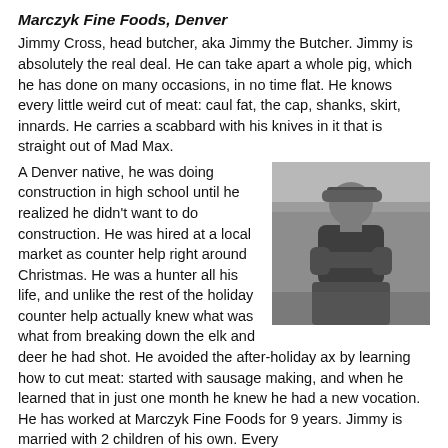Marczyk Fine Foods, Denver
Jimmy Cross, head butcher, aka Jimmy the Butcher. Jimmy is absolutely the real deal. He can take apart a whole pig, which he has done on many occasions, in no time flat. He knows every little weird cut of meat: caul fat, the cap, shanks, skirt, innards. He carries a scabbard with his knives in it that is straight out of Mad Max.
[Figure (photo): Black and white photo of a man wearing a baseball cap and dark t-shirt, arms crossed, standing in what appears to be a market or kitchen setting.]
A Denver native, he was doing construction in high school until he realized he didn't want to do construction. He was hired at a local market as counter help right around Christmas. He was a hunter all his life, and unlike the rest of the holiday counter help actually knew what was what from breaking down the elk and deer he had shot. He avoided the after-holiday ax by learning how to cut meat: started with sausage making, and when he learned that in just one month he knew he had a new vocation. He has worked at Marczyk Fine Foods for 9 years. Jimmy is married with 2 children of his own. Every